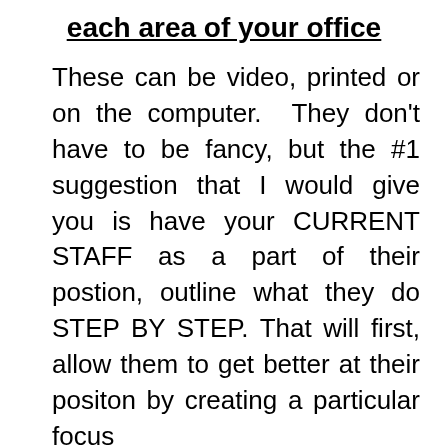each area of your office
These can be video, printed or on the computer. They don't have to be fancy, but the #1 suggestion that I would give you is have your CURRENT STAFF as a part of their postion, outline what they do STEP BY STEP. That will first, allow them to get better at their positon by creating a particular focus